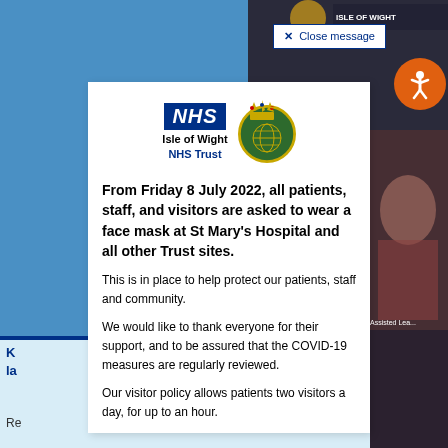[Figure (screenshot): NHS Isle of Wight Trust website screenshot showing a modal popup with face mask policy notice. Background shows blue website header and partial photo of people. An orange accessibility button is visible in top right. A 'Close message' button with border is at top of modal.]
✕  Close message
[Figure (logo): NHS logo (white text on dark blue box) alongside Isle of Wight NHS Trust text and a crown/royal emblem badge]
From Friday 8 July 2022, all patients, staff, and visitors are asked to wear a face mask at St Mary's Hospital and all other Trust sites.
This is in place to help protect our patients, staff and community.
We would like to thank everyone for their support, and to be assured that the COVID-19 measures are regularly reviewed.
Our visitor policy allows patients two visitors a day, for up to an hour.
K... la...
Re
about yo... h how to...